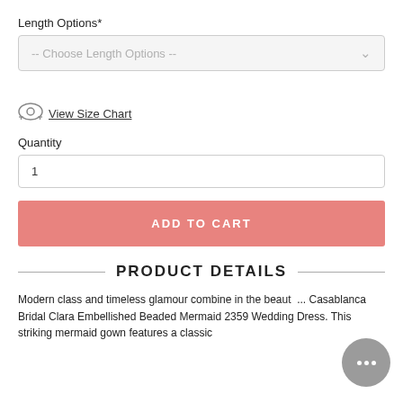Length Options*
[Figure (screenshot): A dropdown select box with placeholder text '-- Choose Length Options --' and a chevron arrow on the right, styled with a light grey background.]
View Size Chart
Quantity
[Figure (screenshot): A text input box showing the number '1' for quantity entry.]
ADD TO CART
PRODUCT DETAILS
Modern class and timeless glamour combine in the beaut... Casablanca Bridal Clara Embellished Beaded Mermaid 2359 Wedding Dress. This striking mermaid gown features a classic